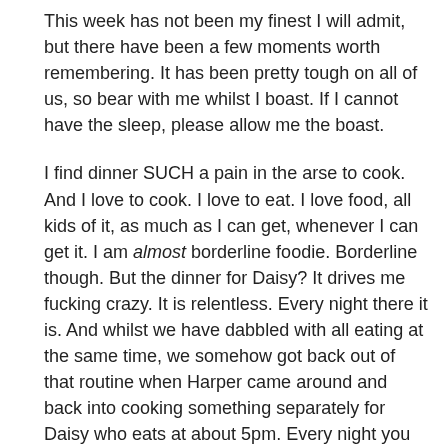This week has not been my finest I will admit, but there have been a few moments worth remembering. It has been pretty tough on all of us, so bear with me whilst I boast. If I cannot have the sleep, please allow me the boast.
I find dinner SUCH a pain in the arse to cook. And I love to cook. I love to eat. I love food, all kids of it, as much as I can get, whenever I can get it. I am almost borderline foodie. Borderline though. But the dinner for Daisy? It drives me fucking crazy. It is relentless. Every night there it is. And whilst we have dabbled with all eating at the same time, we somehow got back out of that routine when Harper came around and back into cooking something separately for Daisy who eats at about 5pm. Every night you have to come up with something else that inevitable won't be eaten, just pushed aside, which does wonders for your self esteem after a looooooong day of tending to her royal Highness's every desire. Honestly, it is such a slap in the face after a long day that I found myself just giving into what she eats, because at that stage I do NOT have the strength, patience or even desire to start another fight over the fucking peas. Then,